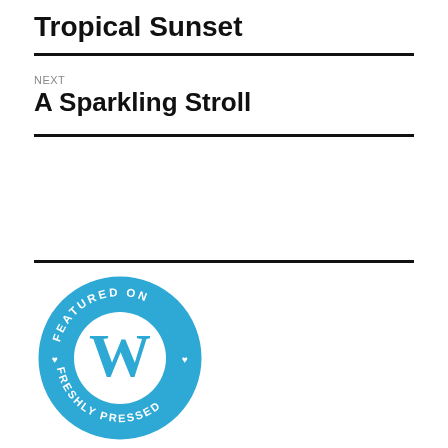Tropical Sunset
NEXT
A Sparkling Stroll
[Figure (logo): WordPress 'Featured on Freshly Pressed' circular badge in blue with white WordPress logo and text]